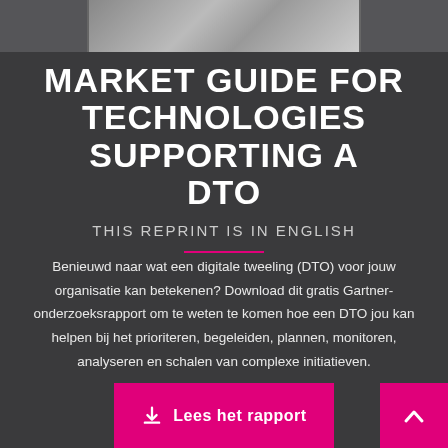[Figure (photo): Partial view of a book or report cover image at the top of the page]
MARKET GUIDE FOR TECHNOLOGIES SUPPORTING A DTO
THIS REPRINT IS IN ENGLISH
Benieuwd naar wat een digitale tweeling (DTO) voor jouw organisatie kan betekenen? Download dit gratis Gartner-onderzoeksrapport om te weten te komen hoe een DTO jou kan helpen bij het prioriteren, begeleiden, plannen, monitoren, analyseren en schalen van complexe initiatieven.
Lees het rapport